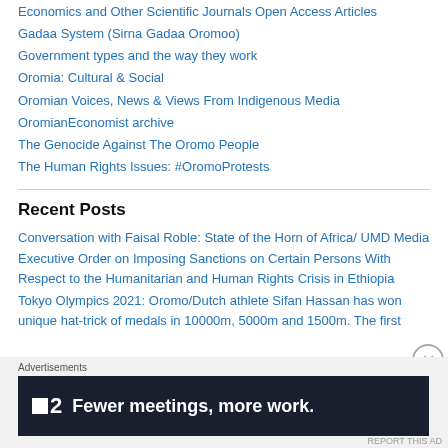Economics and Other Scientific Journals Open Access Articles
Gadaa System (Sirna Gadaa Oromoo)
Government types and the way they work
Oromia: Cultural & Social
Oromian Voices, News & Views From Indigenous Media
OromianEconomist archive
The Genocide Against The Oromo People
The Human Rights Issues: #OromoProtests
Recent Posts
Conversation with Faisal Roble: State of the Horn of Africa/ UMD Media
Executive Order on Imposing Sanctions on Certain Persons With Respect to the Humanitarian and Human Rights Crisis in Ethiopia
Tokyo Olympics 2021: Oromo/Dutch athlete Sifan Hassan has won unique hat-trick of medals in 10000m, 5000m and 1500m. The first
[Figure (infographic): Dark advertisement banner for a software product reading 'Fewer meetings, more work.' with a logo showing a square icon and the number 2.]